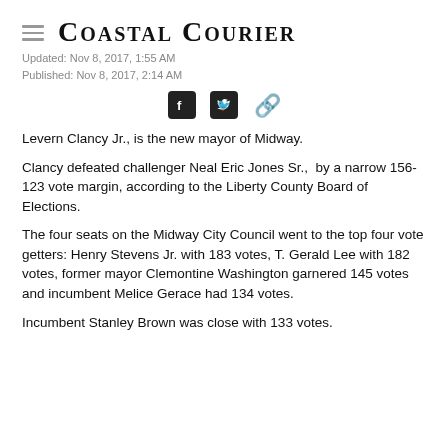Coastal Courier
Updated: Nov 8, 2017, 1:55 AM
Published: Nov 8, 2017, 2:14 AM
[Figure (other): Social sharing icons: Facebook, Twitter, and link/chain icon]
Levern Clancy Jr., is the new mayor of Midway.
Clancy defeated challenger Neal Eric Jones Sr., by a narrow 156-123 vote margin, according to the Liberty County Board of Elections.
The four seats on the Midway City Council went to the top four vote getters: Henry Stevens Jr. with 183 votes, T. Gerald Lee with 182 votes, former mayor Clemontine Washington garnered 145 votes and incumbent Melice Gerace had 134 votes.
Incumbent Stanley Brown was close with 133 votes.